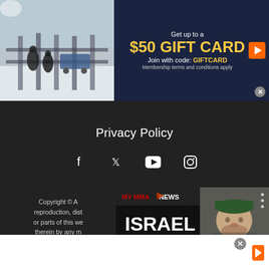[Figure (screenshot): Top advertisement banner showing outdoor winter photo on left and '$50 GIFT CARD' promotion on dark blue background on right, with 'Get up to a $50 GIFT CARD Join with code: GIFTCARD, Membership terms and conditions apply' text]
Privacy Policy
[Figure (infographic): Social media icons row: Facebook, Twitter, YouTube, Instagram]
Copyright © A reproduction, dist or parts of this we therein by any m written p
[Figure (screenshot): Floating video widget showing MyMMANews thumbnail with 'ISRAEL GALVAN CES 70' text and a man in a white hoodie and green cap. Caption reads: Israel Galvan Plans To Finish]